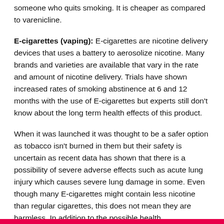someone who quits smoking. It is cheaper as compared to varenicline.
E-cigarettes (vaping): E-cigarettes are nicotine delivery devices that uses a battery to aerosolize nicotine. Many brands and varieties are available that vary in the rate and amount of nicotine delivery. Trials have shown increased rates of smoking abstinence at 6 and 12 months with the use of E-cigarettes but experts still don't know about the long term health effects of this product.
When it was launched it was thought to be a safer option as tobacco isn't burned in them but their safety is uncertain as recent data has shown that there is a possibility of severe adverse effects such as acute lung injury which causes severe lung damage in some. Even though many E-cigarettes might contain less nicotine than regular cigarettes, this does not mean they are harmless. In addition to the possible health